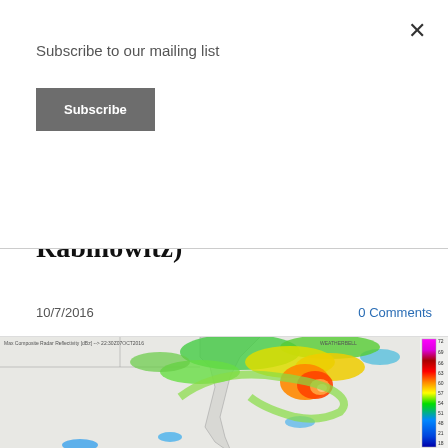Subscribe to our mailing list
Subscribe
Meteorologist Jordan Rabinowitz)
10/7/2016
0 Comments
[Figure (map): Max Composite Radar Reflectivity map showing Hurricane Matthew approaching Florida on 10/7/2016, with color scale from 15 to 72 dBZ. Weatherbell radar image showing storm spiral over southeastern United States and Florida.]